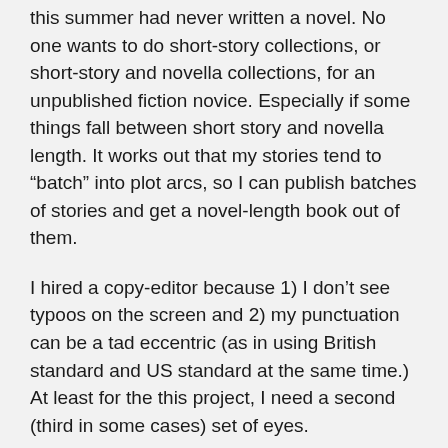this summer had never written a novel. No one wants to do short-story collections, or short-story and novella collections, for an unpublished fiction novice. Especially if some things fall between short story and novella length. It works out that my stories tend to “batch” into plot arcs, so I can publish batches of stories and get a novel-length book out of them.
I hired a copy-editor because 1) I don’t see typoos on the screen and 2) my punctuation can be a tad eccentric (as in using British standard and US standard at the same time.) At least for the this project, I need a second (third in some cases) set of eyes.